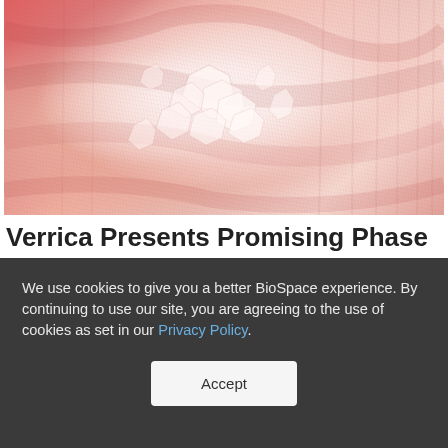[Figure (photo): Close-up macro photograph of skin showing molluscum or wart-like lesions with flaky, peeling texture on reddish-pink skin background]
Verrica Presents Promising Phase III Results for Molluscum & Genital Warts Treatment
We use cookies to give you a better BioSpace experience. By continuing to use our site, you are agreeing to the use of cookies as set in our Privacy Policy.